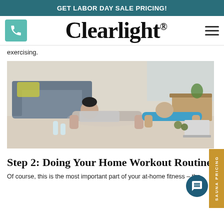GET LABOR DAY SALE PRICING!
[Figure (logo): Clearlight brand logo with phone icon and hamburger menu]
exercising.
[Figure (photo): A man and woman doing plank exercises on the floor in a living room, with water bottles and a laptop nearby]
Step 2: Doing Your Home Workout Routine
Of course, this is the most important part of your at-home fitness – the